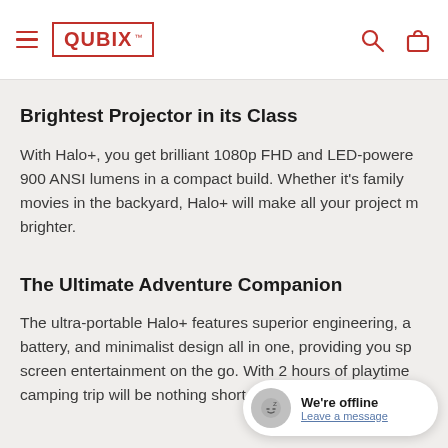QUBIX
Brightest Projector in its Class
With Halo+, you get brilliant 1080p FHD and LED-powered 900 ANSI lumens in a compact build. Whether it's family movies in the backyard, Halo+ will make all your project much brighter.
The Ultimate Adventure Companion
The ultra-portable Halo+ features superior engineering, a battery, and minimalist design all in one, providing you screen entertainment on the go. With 2 hours of playtime, camping trip will be nothing short of extraordinary.